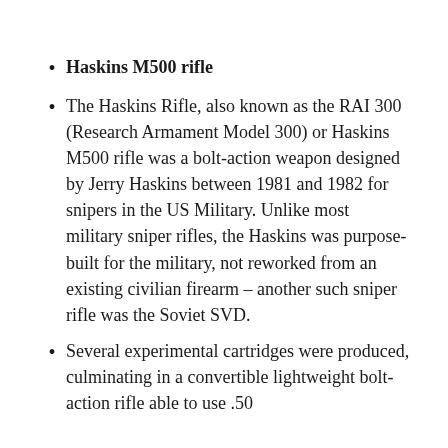Haskins M500 rifle
The Haskins Rifle, also known as the RAI 300 (Research Armament Model 300) or Haskins M500 rifle was a bolt-action weapon designed by Jerry Haskins between 1981 and 1982 for snipers in the US Military. Unlike most military sniper rifles, the Haskins was purpose-built for the military, not reworked from an existing civilian firearm – another such sniper rifle was the Soviet SVD.
Several experimental cartridges were produced, culminating in a convertible lightweight bolt-action rifle able to use .50